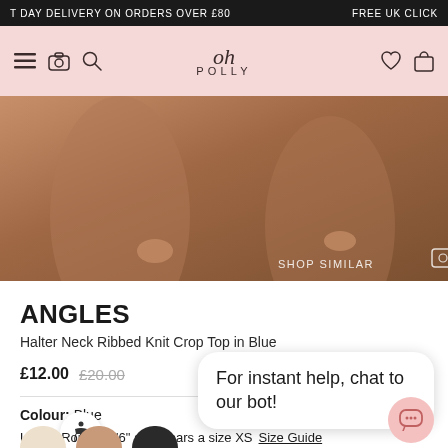T DAY DELIVERY ON ORDERS OVER £80   FREE UK CLICK
[Figure (screenshot): Oh Polly website navigation bar with hamburger menu, camera icon, search icon, Oh Polly logo, heart icon, and bag icon on a pink background]
[Figure (photo): Close-up photo of model's body wearing clothing, warm skin tones, with SHOP SIMILAR button and camera icon overlay]
ANGLES
Halter Neck Ribbed Knit Crop Top in Blue
£12.00  £20.00   No reviews
Colour: Blue
[Figure (other): Three color swatches: blue (selected), peach/nude, and cream]
For instant help, chat to our bot!
Uk  e: Rona is 5'6" and wears a size XS  Size Guide